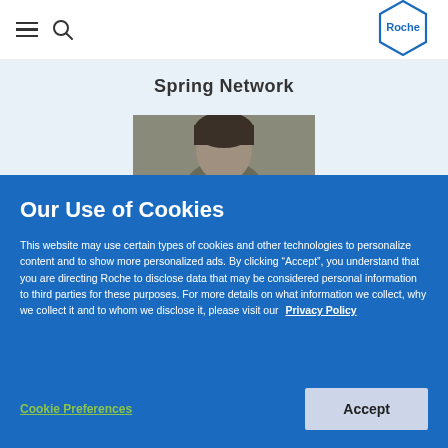Roche navigation bar with hamburger menu, search icon, and Roche hexagon logo
Spring Network
[Figure (photo): Partial photo of a person's head/face visible behind a cookie consent overlay]
Our Use of Cookies
This website may use certain types of cookies and other technologies to personalize content and to show more personalized ads. By clicking “Accept”, you understand that you are directing Roche to disclose data that may be considered personal information to third parties for these purposes. For more details on what information we collect, why we collect it and to whom we disclose it, please visit our Privacy Policy
Cookie Preferences
Accept